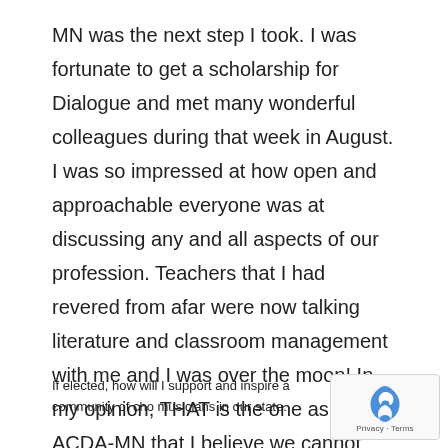MN was the next step I took. I was fortunate to get a scholarship for Dialogue and met many wonderful colleagues during that week in August. I was so impressed at how open and approachable everyone was at discussing any and all aspects of our profession. Teachers that I had revered from afar were now talking literature and classroom management with me and I was over the moon! In my opinion, THAT is the one aspect of ACDA-MN that I believe we cannot ever let go. I hope as I continue to grow in my teaching abilities, that I can be helpful to new teachers and musicians in the years to come.
If elected, how will I support and inspire a community of cho musicians in our state.